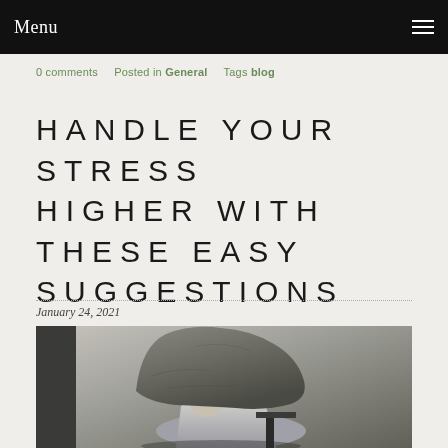Menu
0 comments   Posted in General   Tags blog
HANDLE YOUR STRESS HIGHER WITH THESE EASY SUGGESTIONS
January 24, 2021
[Figure (photo): A man bent over under the weight of a large rock, sitting at what appears to be a desk or chair, black and white dramatic photo illustrating stress]